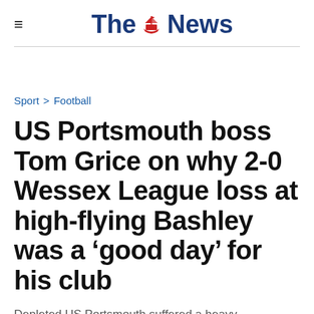≡  The News
Sport > Football
US Portsmouth boss Tom Grice on why 2-0 Wessex League loss at high-flying Bashley was a 'good day' for his club
Depleted US Portsmouth suffered a heavy...